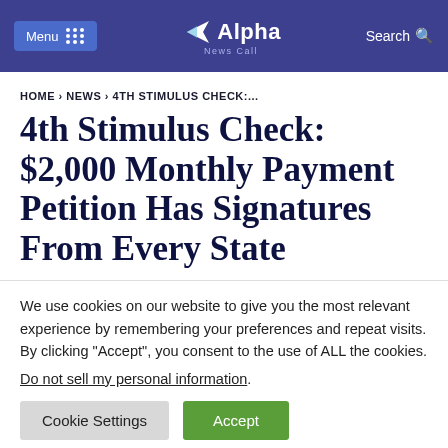Menu | Alpha News Call | Search
HOME › NEWS › 4TH STIMULUS CHECK:...
4th Stimulus Check: $2,000 Monthly Payment Petition Has Signatures From Every State
We use cookies on our website to give you the most relevant experience by remembering your preferences and repeat visits. By clicking "Accept", you consent to the use of ALL the cookies.
Do not sell my personal information.
Cookie Settings | Accept